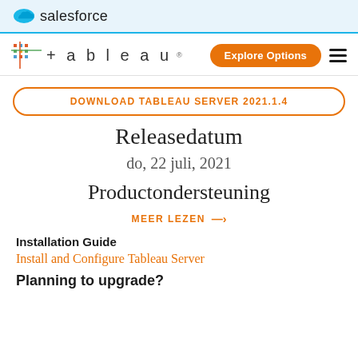salesforce
[Figure (logo): Tableau logo with colorful cross/plus icon and text '+tableau']
DOWNLOAD TABLEAU SERVER 2021.1.4
Releasedatum
do, 22 juli, 2021
Productondersteuning
MEER LEZEN →
Installation Guide
Install and Configure Tableau Server
Planning to upgrade?